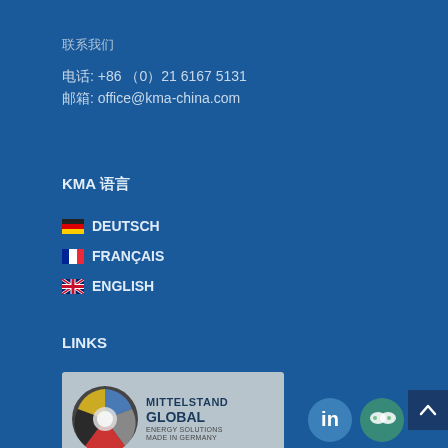联系我们
电话: +86 （0）21 6167 5131
邮箱: office@kma-china.com
KMA 语言
🇩🇪 DEUTSCH
🇫🇷 FRANÇAIS
🇬🇧 ENGLISH
LINKS
[Figure (logo): Mittelstand Global Energy Solutions Made in Germany logo with circular globe graphic]
[Figure (logo): LinkedIn icon circle]
[Figure (logo): WeChat icon circle]